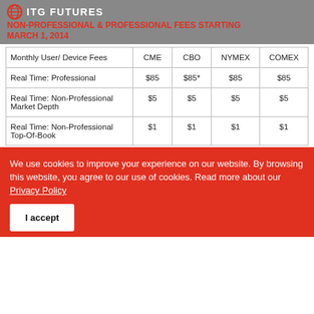ITG FUTURES
NON-PROFESSIONAL & PROFESSIONAL FEES STARTING MARCH 1, 2014
| Monthly User/ Device Fees | CME | CBO | NYMEX | COMEX |
| --- | --- | --- | --- | --- |
| Real Time: Professional | $85 | $85* | $85 | $85 |
| Real Time: Non-Professional Market Depth | $5 | $5 | $5 | $5 |
| Real Time: Non-Professional Top-Of-Book | $1 | $1 | $1 | $1 |
We use cookies to improve your experience on our website. By browsing this website, you agree to our use of cookies. Read more about our Privacy Policy
I accept